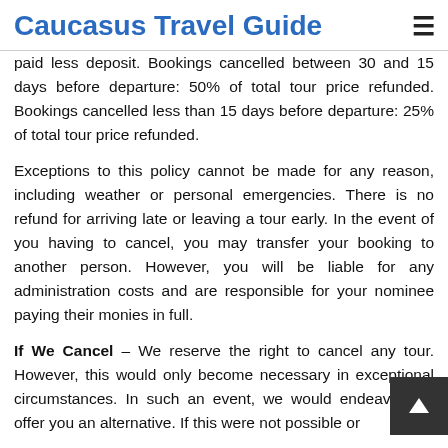Caucasus Travel Guide
paid less deposit. Bookings cancelled between 30 and 15 days before departure: 50% of total tour price refunded. Bookings cancelled less than 15 days before departure: 25% of total tour price refunded.
Exceptions to this policy cannot be made for any reason, including weather or personal emergencies. There is no refund for arriving late or leaving a tour early. In the event of you having to cancel, you may transfer your booking to another person. However, you will be liable for any administration costs and are responsible for your nominee paying their monies in full.
If We Cancel – We reserve the right to cancel any tour. However, this would only become necessary in exceptional circumstances. In such an event, we would endeavour to offer you an alternative. If this were not possible or